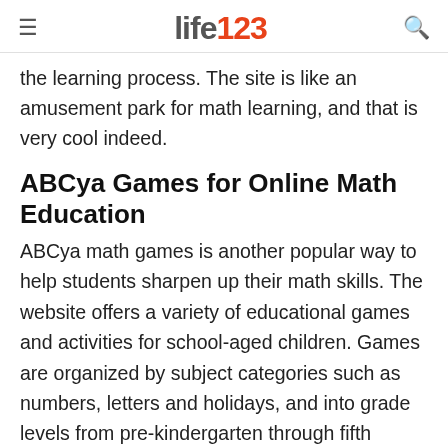life123
the learning process. The site is like an amusement park for math learning, and that is very cool indeed.
ABCya Games for Online Math Education
ABCya math games is another popular way to help students sharpen up their math skills. The website offers a variety of educational games and activities for school-aged children. Games are organized by subject categories such as numbers, letters and holidays, and into grade levels from pre-kindergarten through fifth grade. In addition, many of the free games meet requirements within the Common Core